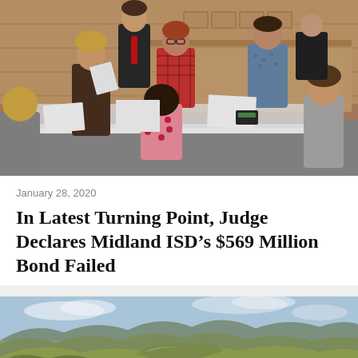[Figure (photo): People seated and standing around a table in a conference room, reviewing documents. Several individuals are looking at papers; one person in a red tie and suit stands, another in a red plaid jacket sits at center.]
January 28, 2020
In Latest Turning Point, Judge Declares Midland ISD’s $569 Million Bond Failed
[Figure (photo): Aerial landscape photograph of rolling green hills and mesas under a partly cloudy sky, resembling a prairie or badlands landscape.]